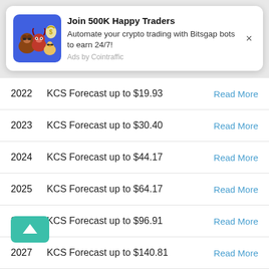[Figure (other): Advertisement banner for Bitsgap crypto trading bots with cartoon animal mascots on blue background]
| Year | Forecast | Link |
| --- | --- | --- |
| 2022 | KCS Forecast up to $19.93 | Read More |
| 2023 | KCS Forecast up to $30.40 | Read More |
| 2024 | KCS Forecast up to $44.17 | Read More |
| 2025 | KCS Forecast up to $64.17 | Read More |
| 2026 | KCS Forecast up to $96.91 | Read More |
| 2027 | KCS Forecast up to $140.81 | Read More |
| 2028 | KCS Forecast up to $198.75 | Read More |